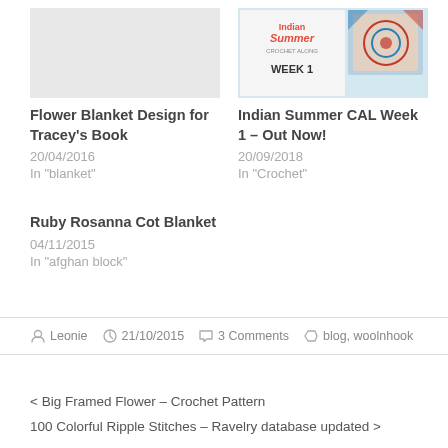Flower Blanket Design for Tracey's Book
20/04/2016
In "blanket"
[Figure (photo): Indian Summer Crochet Along Week 1 book/pattern cover image with decorative mandala tile design]
Indian Summer CAL Week 1 – Out Now!
20/09/2018
In "Crochet"
Ruby Rosanna Cot Blanket
04/11/2015
In "afghan block"
Leonie   21/10/2015   3 Comments   blog, woolnhook
< Big Framed Flower – Crochet Pattern
100 Colorful Ripple Stitches – Ravelry database updated >